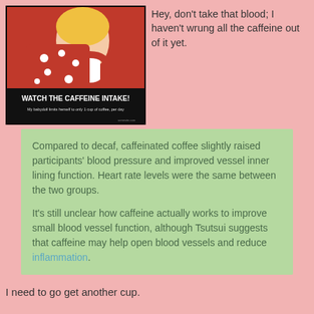[Figure (photo): Meme image showing a blonde girl holding a very large red polka-dot coffee mug. Text overlay reads 'WATCH THE CAFFEINE INTAKE!' and 'My babydoll limits herself to only 1 cup of coffee, per day']
Hey, don't take that blood; I haven't wrung all the caffeine out of it yet.
Compared to decaf, caffeinated coffee slightly raised participants' blood pressure and improved vessel inner lining function. Heart rate levels were the same between the two groups.

It's still unclear how caffeine actually works to improve small blood vessel function, although Tsutsui suggests that caffeine may help open blood vessels and reduce inflammation.
I need to go get another cup.